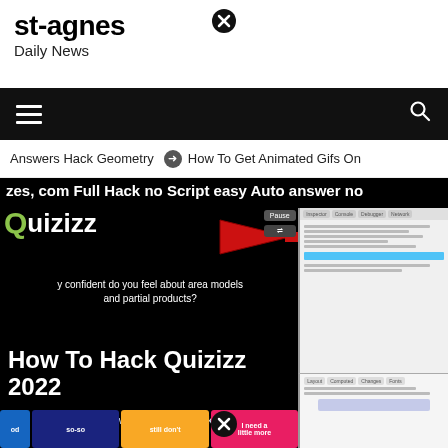st-agnes
Daily News
[Figure (screenshot): Website screenshot of st-agnes Daily News showing a Quizizz hack article with logo, arrow, quiz question, browser developer tools screenshot on the right, and colorful answer boxes at the bottom. Title overlay reads 'How To Hack Quizizz 2022'. Breadcrumb: Home > Daily_News > How To Hack Quizizz 2022]
Answers Hack Geometry  ⊙ How To Get Animated Gifs On